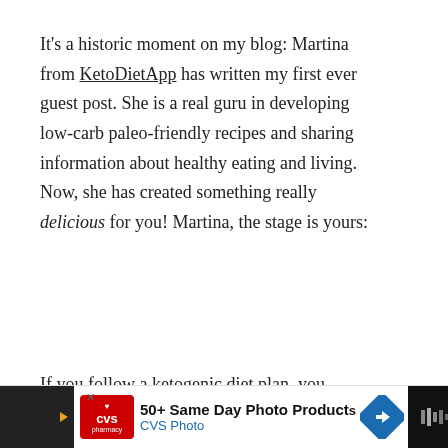It's a historic moment on my blog: Martina from KetoDietApp has written my first ever guest post. She is a real guru in developing low-carb paleo-friendly recipes and sharing information about healthy eating and living. Now, she has created something really delicious for you! Martina, the stage is yours:
If you follow a ketogenic diet plan, you probably know that the main source of energy should come from fat. Fat bombs are easy snacks high in healthy fats and very low in carbs and protein. They are great for those who find it difficult to include more
[Figure (other): Social media interaction buttons: green heart/like button with count 24, and share button]
[Figure (other): CVS Photo advertisement banner: 50+ Same Day Photo Products, CVS Photo logo with red background and heart icon, blue direction sign arrow]